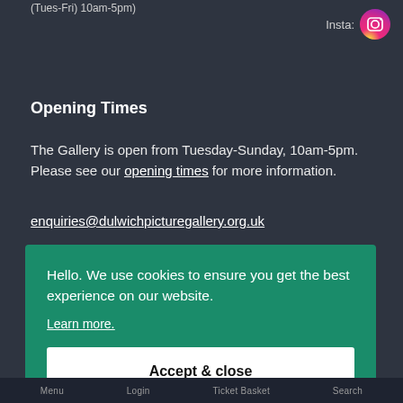(Tues-Fri) 10am-5pm)
[Figure (logo): Instagram icon — circular gradient pink/red background with white camera outline, labeled 'Insta:' to the left]
Opening Times
The Gallery is open from Tuesday-Sunday, 10am-5pm. Please see our opening times for more information.
enquiries@dulwichpicturegallery.org.uk
Hello. We use cookies to ensure you get the best experience on our website.
Learn more.
Accept & close
Menu   Login   Ticket Basket   Search